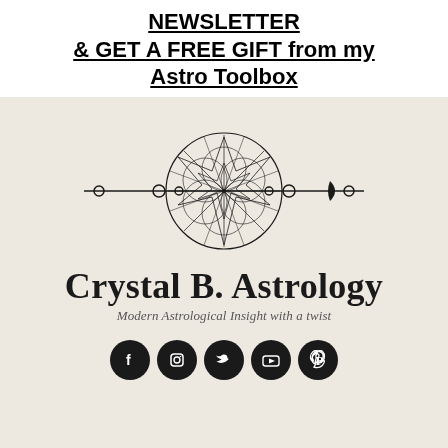NEWSLETTER & GET A FREE GIFT from my Astro Toolbox
[Figure (logo): Crystal B. Astrology logo featuring triple moon symbol with geometric star/flower pattern in center circle, two crescent moons on sides connected by horizontal bar with small circles. Below: 'Crystal B. Astrology' in serif font, tagline 'Modern Astrological Insight with a twist' in italic. Social media icons (Facebook, Instagram, Twitter, YouTube, Pinterest) at bottom.]